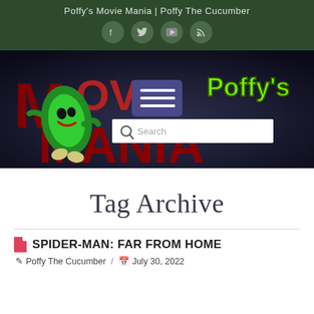Poffy's Movie Mania | Poffy The Cucumber
[Figure (screenshot): Website banner for Poffy's Movie Mania showing a green cartoon cucumber character, large red letters spelling MOVIE MANIA, green Poffy's logo, a blue hamburger menu button, and a white search bar with magnifying glass icon and 'Search' placeholder text.]
Tag Archive
SPIDER-MAN: FAR FROM HOME
🖊 Poffy The Cucumber  /  📅 July 30, 2022